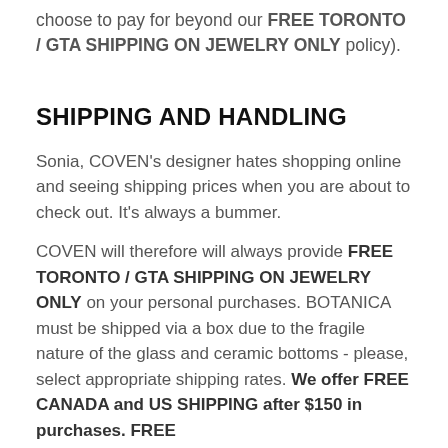choose to pay for beyond our FREE TORONTO / GTA SHIPPING ON JEWELRY ONLY policy).
SHIPPING AND HANDLING
Sonia, COVEN's designer hates shopping online and seeing shipping prices when you are about to check out. It's always a bummer.
COVEN will therefore will always provide FREE TORONTO / GTA SHIPPING ON JEWELRY ONLY on your personal purchases. BOTANICA must be shipped via a box due to the fragile nature of the glass and ceramic bottoms - please, select appropriate shipping rates. We offer FREE CANADA and US SHIPPING after $150 in purchases. FREE